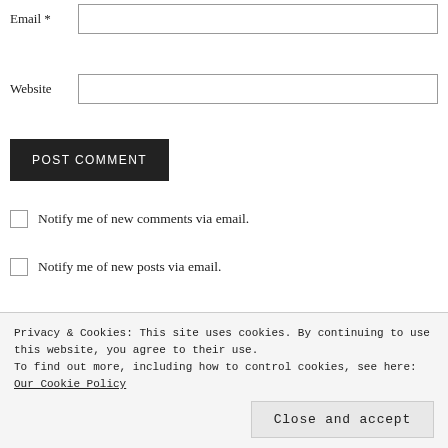Email *
Website
POST COMMENT
Notify me of new comments via email.
Notify me of new posts via email.
Privacy & Cookies: This site uses cookies. By continuing to use this website, you agree to their use.
To find out more, including how to control cookies, see here: Our Cookie Policy
Close and accept